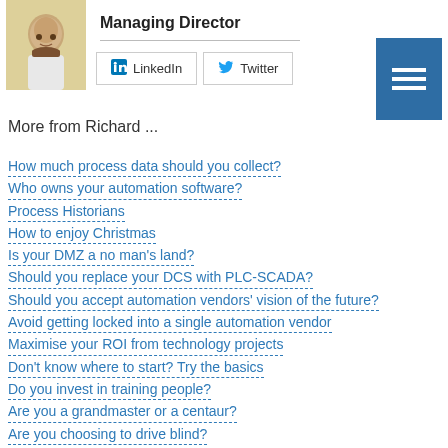[Figure (photo): Profile photo of a man with a beard against a light yellow background]
Managing Director
LinkedIn
Twitter
[Figure (other): Blue menu/hamburger icon button with three white horizontal lines]
More from Richard ...
How much process data should you collect?
Who owns your automation software?
Process Historians
How to enjoy Christmas
Is your DMZ a no man's land?
Should you replace your DCS with PLC-SCADA?
Should you accept automation vendors' vision of the future?
Avoid getting locked into a single automation vendor
Maximise your ROI from technology projects
Don't know where to start? Try the basics
Do you invest in training people?
Are you a grandmaster or a centaur?
Are you choosing to drive blind?
Transferring is the worst
ATT&CK!
Windows 7 end of life announcement